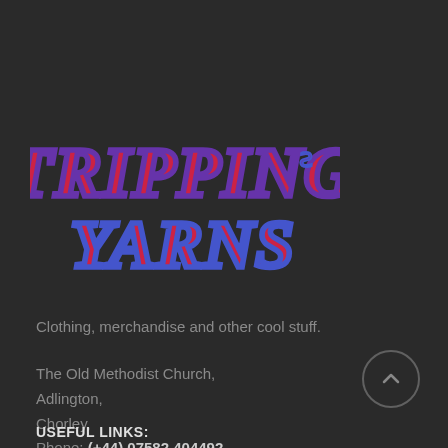[Figure (logo): Tripping Yarns psychedelic logo with purple and red decorative lettering on dark background]
Clothing, merchandise and other cool stuff.
The Old Methodist Church,
Adlington,
Chorley,
Phone: (+44) 07582 404492
USEFUL LINKS: